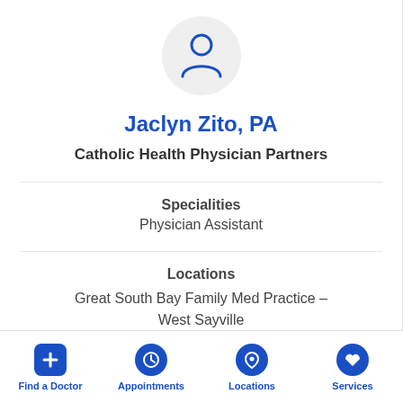[Figure (illustration): Person/user avatar icon in blue outline inside a light gray circle]
Jaclyn Zito, PA
Catholic Health Physician Partners
Specialities
Physician Assistant
Locations
Great South Bay Family Med Practice – West Sayville
Find a Doctor | Appointments | Locations | Services